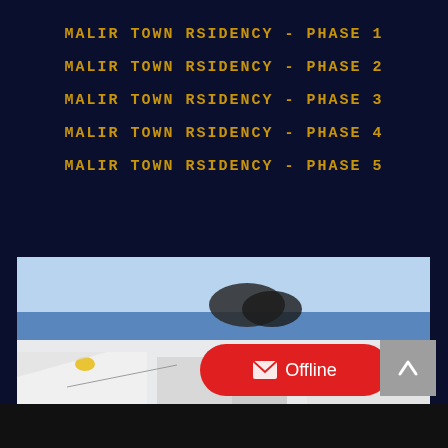MALIR TOWN RSIDENCY - PHASE 1
MALIR TOWN RSIDENCY - PHASE 2
MALIR TOWN RSIDENCY - PHASE 3
MALIR TOWN RSIDENCY - PHASE 4
MALIR TOWN RSIDENCY - PHASE 5
[Figure (photo): Architectural rendering of white modern building exterior with blue sky and trees]
Offline